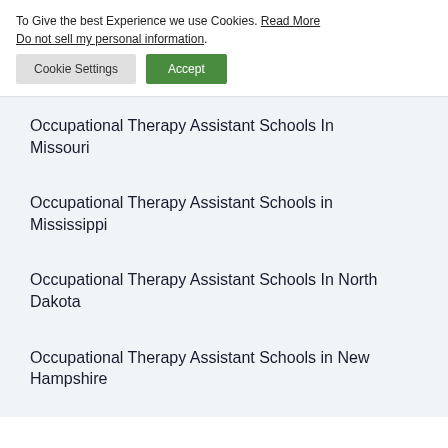To Give the best Experience we use Cookies. Read More Do not sell my personal information.
Occupational Therapy Assistant Schools In Missouri
Occupational Therapy Assistant Schools in Mississippi
Occupational Therapy Assistant Schools In North Dakota
Occupational Therapy Assistant Schools in New Hampshire